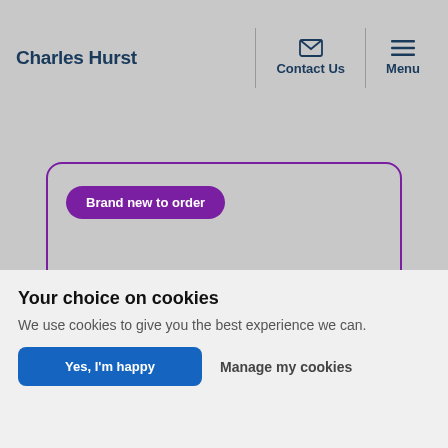Charles Hurst | Contact Us | Menu
[Figure (screenshot): Charles Hurst website navigation bar with logo, contact us and menu icons]
Brand new to order
Your choice on cookies
We use cookies to give you the best experience we can.
Yes, I'm happy | Manage my cookies